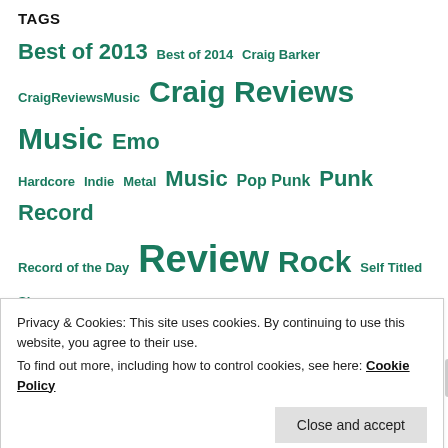TAGS
Best of 2013 Best of 2014 Craig Barker CraigReviewsMusic Craig Reviews Music Emo Hardcore Indie Metal Music Pop Punk Punk Record Record of the Day Review Rock Self Titled Singer Songwriter Submissions Vinyl
RECENT POSTS
My Favourite Albums of 2021
Privacy & Cookies: This site uses cookies. By continuing to use this website, you agree to their use.
To find out more, including how to control cookies, see here: Cookie Policy